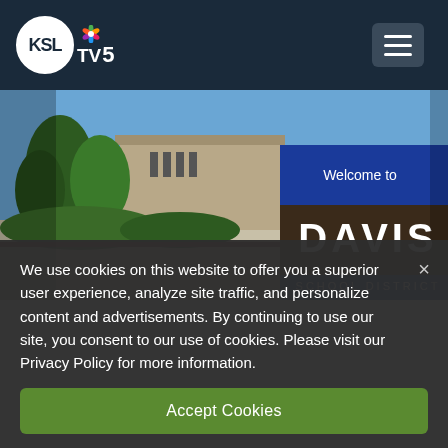KSL TV 5 NBC
[Figure (photo): Outdoor photo showing a building with trees and a Davis School District welcome sign with blue and wood background]
We use cookies on this website to offer you a superior user experience, analyze site traffic, and personalize content and advertisements. By continuing to use our site, you consent to our use of cookies. Please visit our Privacy Policy for more information.
Accept Cookies